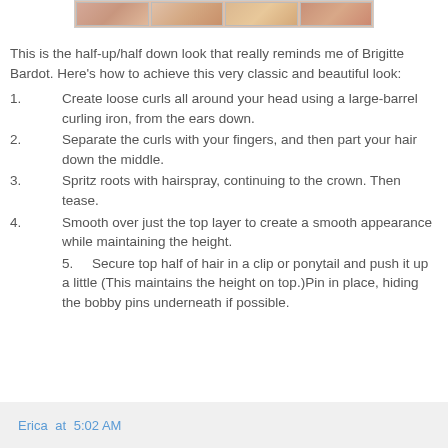[Figure (photo): Strip of four hair style thumbnail images]
This is the half-up/half down look that really reminds me of Brigitte Bardot. Here's how to achieve this very classic and beautiful look:
1. Create loose curls all around your head using a large-barrel curling iron, from the ears down.
2. Separate the curls with your fingers, and then part your hair down the middle.
3. Spritz roots with hairspray, continuing to the crown. Then tease.
4. Smooth over just the top layer to create a smooth appearance while maintaining the height.
5. Secure top half of hair in a clip or ponytail and push it up a little (This maintains the height on top.)Pin in place, hiding the bobby pins underneath if possible.
Erica at 5:02 AM